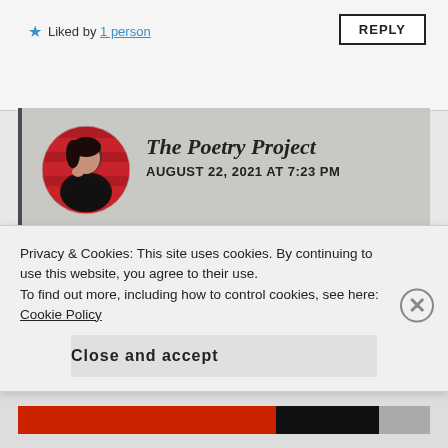★ Liked by 1 person
REPLY
[Figure (photo): Circular avatar photo of a young woman with dark hair, against a red striped background]
The Poetry Project
AUGUST 22, 2021 AT 7:23 PM
Thank You Dear 💕 🤗
★ Liked by 2 people
REPLY
Advertisements
Privacy & Cookies: This site uses cookies. By continuing to use this website, you agree to their use.
To find out more, including how to control cookies, see here: Cookie Policy
Close and accept